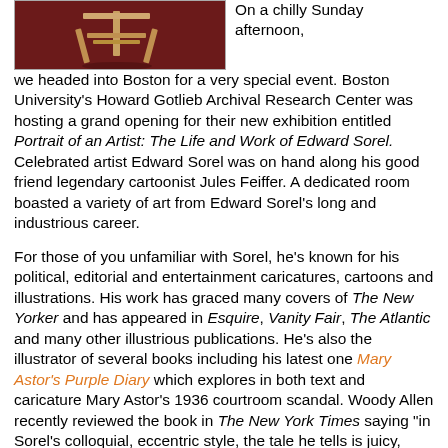[Figure (photo): Photo of a wooden easel or art stand on a dark red/maroon background]
On a chilly Sunday afternoon, we headed into Boston for a very special event. Boston University's Howard Gotlieb Archival Research Center was hosting a grand opening for their new exhibition entitled Portrait of an Artist: The Life and Work of Edward Sorel. Celebrated artist Edward Sorel was on hand along his good friend legendary cartoonist Jules Feiffer. A dedicated room boasted a variety of art from Edward Sorel's long and industrious career.

For those of you unfamiliar with Sorel, he's known for his political, editorial and entertainment caricatures, cartoons and illustrations. His work has graced many covers of The New Yorker and has appeared in Esquire, Vanity Fair, The Atlantic and many other illustrious publications. He's also the illustrator of several books including his latest one Mary Astor's Purple Diary which explores in both text and caricature Mary Astor's 1936 courtroom scandal. Woody Allen recently reviewed the book in The New York Times saying "in Sorel's colloquial, eccentric style, the tale he tells is juicy, funny and, in the end, touching."